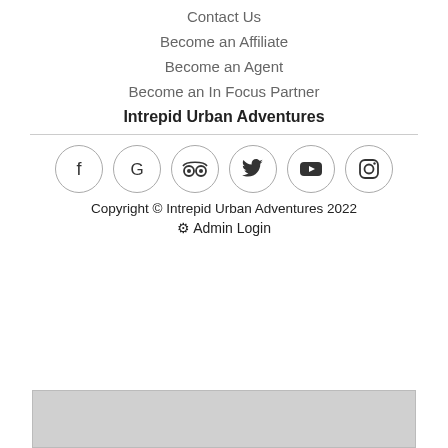Contact Us
Become an Affiliate
Become an Agent
Become an In Focus Partner
Intrepid Urban Adventures
[Figure (infographic): Row of 6 social media icons in circles: Facebook, Google, TripAdvisor, Twitter, YouTube, Instagram]
Copyright © Intrepid Urban Adventures 2022
⚙ Admin Login
[Figure (other): Gray rectangle at bottom of page]